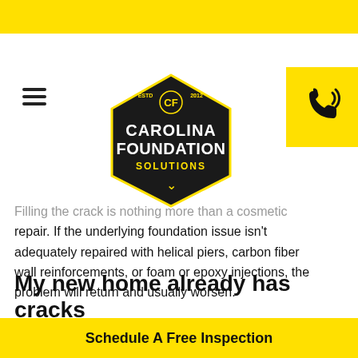[Figure (logo): Carolina Foundation Solutions hexagonal logo with yellow text on dark background]
Filling the crack is nothing more than a cosmetic repair. If the underlying foundation issue isn't adequately repaired with helical piers, carbon fiber wall reinforcements, or foam or epoxy injections, the problem will return and usually worsen.
My new home already has cracks around the windows and doors. Does this mean I have foundation problems?
Schedule A Free Inspection